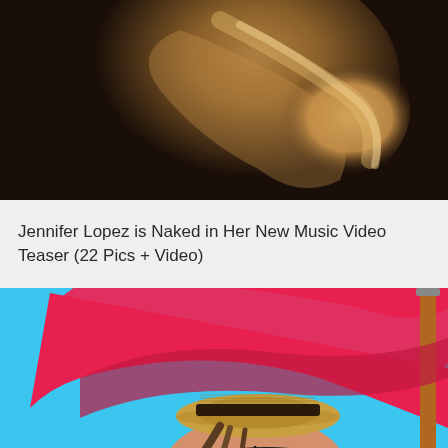[Figure (photo): Close-up photo with warm golden/brown tones against dark background]
Jennifer Lopez is Naked in Her New Music Video Teaser (22 Pics + Video)
[Figure (photo): Woman wearing a straw hat and bikini under a large red beach umbrella against a bright blue sky]